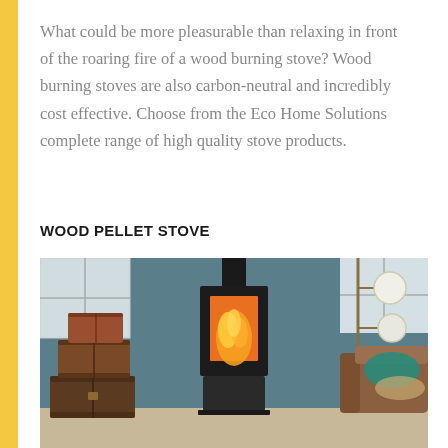What could be more pleasurable than relaxing in front of the roaring fire of a wood burning stove? Wood burning stoves are also carbon-neutral and incredibly cost effective. Choose from the Eco Home Solutions complete range of high quality stove products.
WOOD PELLET STOVE
[Figure (photo): A modern wood pellet stove with visible flames through its glass door, placed in a room with teal/blue walls, vintage luggage stacked on the left, and a leather armchair with teal cushion on the right.]